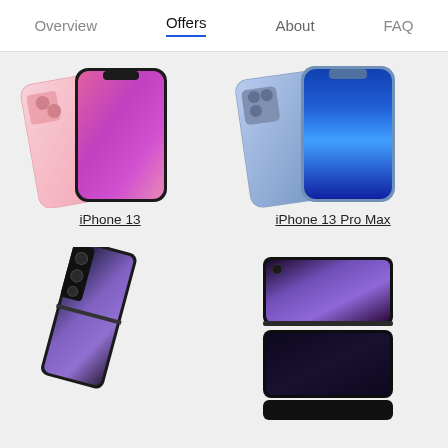Overview  Offers  About  FAQ
[Figure (photo): iPhone 13 in pink color shown from front and back]
[Figure (photo): iPhone 13 Pro Max in blue color shown from front and back]
iPhone 13
iPhone 13 Pro Max
[Figure (photo): Samsung Galaxy Z Fold 3 in black, shown closed at an angle]
[Figure (photo): Samsung Galaxy Z Flip 3 in black, shown open/flipped]